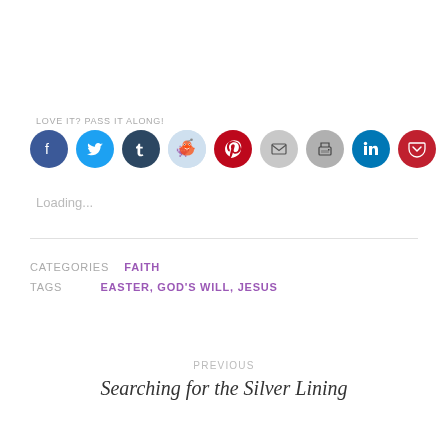LOVE IT? PASS IT ALONG!
[Figure (infographic): Row of social sharing icon circles: Facebook (blue), Twitter (light blue), Tumblr (dark navy), Reddit (light blue outline), Pinterest (red), Email (light gray), Print (gray), LinkedIn (teal blue), Pocket (red)]
Loading...
CATEGORIES  FAITH
TAGS  EASTER, GOD'S WILL, JESUS
PREVIOUS
Searching for the Silver Lining